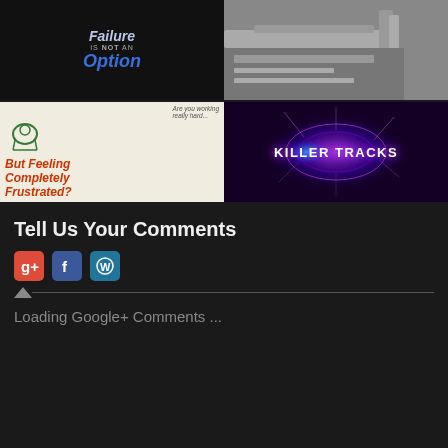[Figure (illustration): Motivational graphic: 'Failure is NOT an Option' text in blue italic style on dark background]
[Figure (photo): Close-up photo of a gun/weapon barrel with ammunition on a military-style surface]
[Figure (illustration): Ad graphic with text 'Are you working really hard... But Feeling Completely Frustrated?' with cartoon stressed figure, white background]
[Figure (illustration): Killer Tracks logo/graphic: white text on dark purple/black background with glowing light effects]
Tell Us Your Comments
[Figure (logo): Three social media icons: Google+, Facebook, WordPress]
Loading Google+ Comments ...